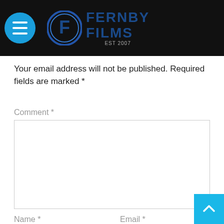Fernby Films
Your email address will not be published. Required fields are marked *
Comment *
Name *
Email *